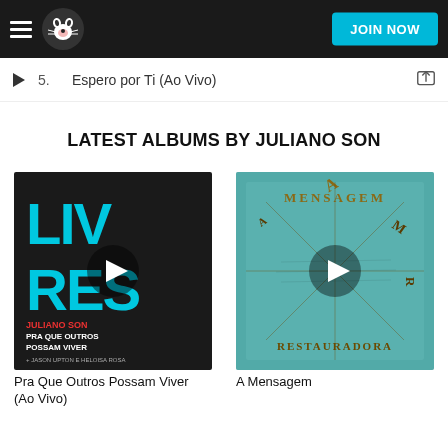Napster — JOIN NOW
5.   Espero por Ti (Ao Vivo)
LATEST ALBUMS BY JULIANO SON
[Figure (photo): Album cover for 'Pra Que Outros Possam Viver (Ao Vivo)' by Juliano Son — dark background with bold teal/cyan 'LIVRES' lettering and red subtitle text]
[Figure (photo): Album cover for 'A Mensagem' — aged teal parchment with gothic lettering spelling 'A MENSAGEM / RESTAURADORA']
Pra Que Outros Possam Viver (Ao Vivo)
A Mensagem